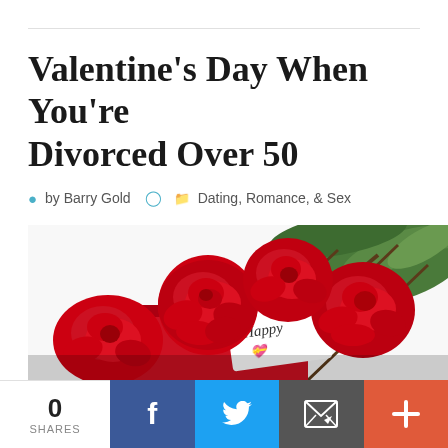Valentine’s Day When You’re Divorced Over 50
by Barry Gold   Dating, Romance, & Sex
[Figure (photo): Bouquet of red roses with a gift tag reading 'Happy Valentine's Day' on a white background]
0 SHARES